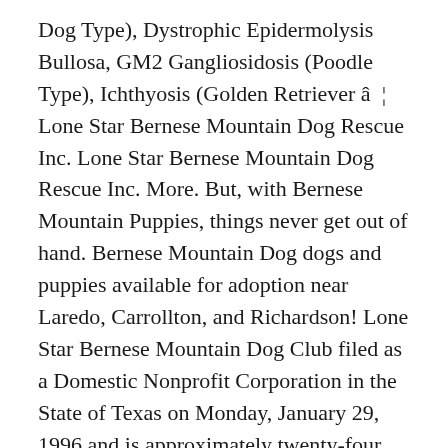Dog Type), Dystrophic Epidermolysis Bullosa, GM2 Gangliosidosis (Poodle Type), Ichthyosis (Golden Retriever â ¦ Lone Star Bernese Mountain Dog Rescue Inc. Lone Star Bernese Mountain Dog Rescue Inc. More. But, with Bernese Mountain Puppies, things never get out of hand. Bernese Mountain Dog dogs and puppies available for adoption near Laredo, Carrollton, and Richardson! Lone Star Bernese Mountain Dog Club filed as a Domestic Nonprofit Corporation in the State of Texas on Monday, January 29, 1996 and is approximately twenty-four years old, as recorded in documents â ¦ Lone Star Bernese Mountain Dog Club Overview. Your Bernese Mountain Dogâ s Health We know that because you care so much about your dog, you â ¦ - Bernese